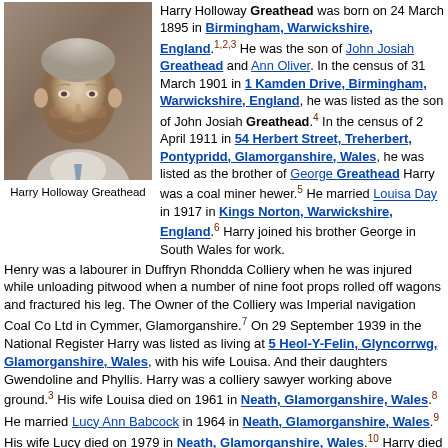[Figure (photo): Black and white/color photo of an elderly man, Harry Holloway Greathead]
Harry Holloway Greathead
Harry Holloway Greathead was born on 24 March 1895 in Birmingham, Warwickshire, England.[1,2,3] He was the son of John Josiah Greathead and Ann Oliver. In the census of 31 March 1901 in 1 Kamden Drive, Birmingham, Warwickshire, England, he was listed as the son of John Josiah Greathead.[4] In the census of 2 April 1911 in 54 Herbert Street, Treherbert, Pontypridd, Glamorganshire, Wales, he was listed as the brother of George Greathead Harry was a coal miner hewer.[5] He married Louisa Day in 1917 in Kings Norton, Warwickshire, England.[6] Harry joined his brother George in South Wales for work. Henry was a labourer in Duffryn Rhondda Colliery when he was injured while unloading pitwood when a number of nine foot props rolled off wagons and fractured his leg. The Owner of the Colliery was Imperial navigation Coal Co Ltd in Cymmer, Glamorganshire.[7] On 29 September 1939 in the National Register Harry was listed as living at 5 Heol-Y-Felin, Glyncorrwg, Glamorganshire, Wales, with his wife Louisa. And their daughters Gwendoline and Phyllis. Harry was a colliery sawyer working above ground.[3] His wife Louisa died on 1961 in Neath, Glamorganshire, Wales.[8] He married Lucy Ann Babcock in 1964 in Neath, Glamorganshire, Wales.[9] His wife Lucy died on 1979 in Neath, Glamorganshire, Wales.[10] Harry died in May 1985 in Neath, Glamorganshire, Wales, aged 90.[11]
Children of Harry Holloway Greathead and Louisa Day
Stanley G H Greathead b. 1919, d. 1919
Gwendoline H Greathead